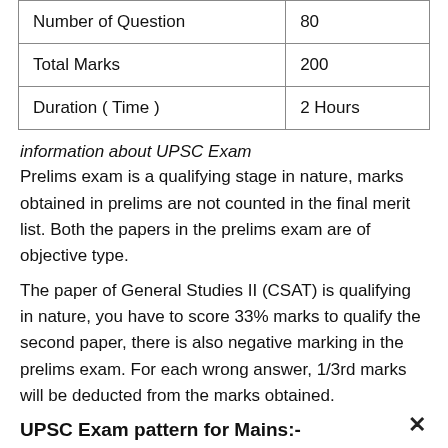| Number of Question | 80 |
| Total Marks | 200 |
| Duration ( Time ) | 2 Hours |
information about UPSC Exam
Prelims exam is a qualifying stage in nature, marks obtained in prelims are not counted in the final merit list. Both the papers in the prelims exam are of objective type.
The paper of General Studies II (CSAT) is qualifying in nature, you have to score 33% marks to qualify the second paper, there is also negative marking in the prelims exam. For each wrong answer, 1/3rd marks will be deducted from the marks obtained.
UPSC Exam pattern for Mains:-